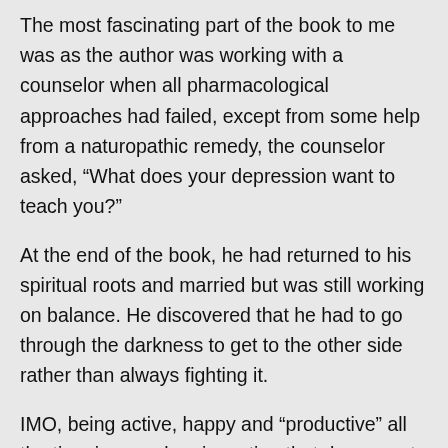The most fascinating part of the book to me was as the author was working with a counselor when all pharmacological approaches had failed, except from some help from a naturopathic remedy, the counselor asked, “What does your depression want to teach you?”
At the end of the book, he had returned to his spiritual roots and married but was still working on balance. He discovered that he had to go through the darkness to get to the other side rather than always fighting it.
IMO, being active, happy and “productive” all the time is a modern invention that does great damage to humanity in general but